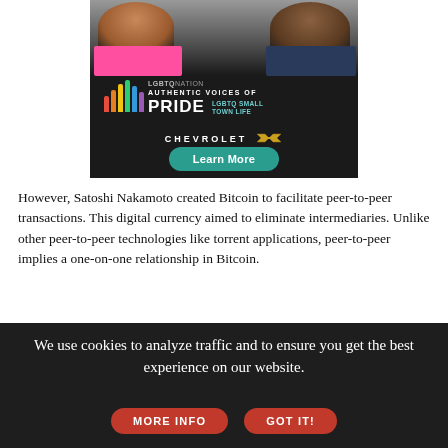[Figure (illustration): LGBTQ Nation advertisement banner featuring two people (one in pink top, one in dark top), rainbow bar chart graphic, text 'LGBTQ NATION AUTHENTIC VOICES OF PRIDE LGBTQ SMALL TOWN LIFE', Chevrolet logo, and a teal 'Learn More' button on dark background.]
However, Satoshi Nakamoto created Bitcoin to facilitate peer-to-peer transactions. This digital currency aimed to eliminate intermediaries. Unlike other peer-to-peer technologies like torrent applications, peer-to-peer implies a one-on-one relationship in Bitcoin.
A peer-to-peer transaction implies that you have information about the entity or person you interact with instead of interacting with different peers. And this information can be their Bitcoin wallet's
We use cookies to analyze traffic and to ensure you get the best experience on our website.
MORE INFO
GOT IT!